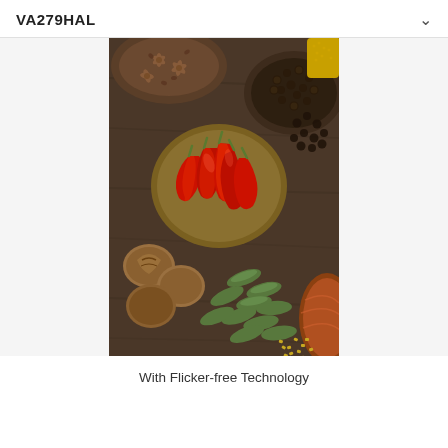VA279HAL
[Figure (photo): Overhead photograph of various colorful spices arranged on a dark wooden surface. Center bowl contains bright red dried chili peppers. Upper left has star anise and seeds in a wooden bowl. Upper right has black peppercorns and yellow turmeric in round bowls. Lower left has whole nutmegs. Center-lower area has green cardamom pods scattered. Lower right has an onion and golden fenugreek seeds.]
With Flicker-free Technology